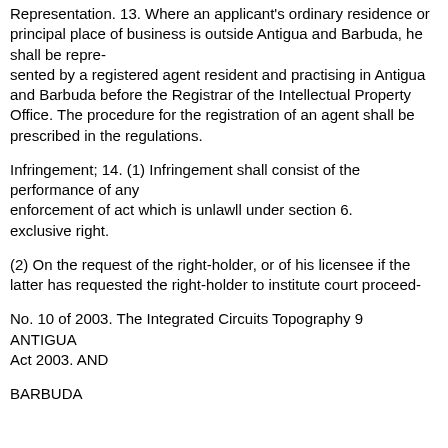Representation. 13. Where an applicant's ordinary residence or principal place of business is outside Antigua and Barbuda, he shall be represented by a registered agent resident and practising in Antigua and Barbuda before the Registrar of the Intellectual Property Office. The procedure for the registration of an agent shall be prescribed in the regulations.
Infringement; 14. (1) Infringement shall consist of the performance of any enforcement of act which is unlawll under section 6. exclusive right.
(2) On the request of the right-holder, or of his licensee if the latter has requested the right-holder to institute court proceed-
No. 10 of 2003. The Integrated Circuits Topography 9 ANTIGUA Act 2003. AND
BARBUDA